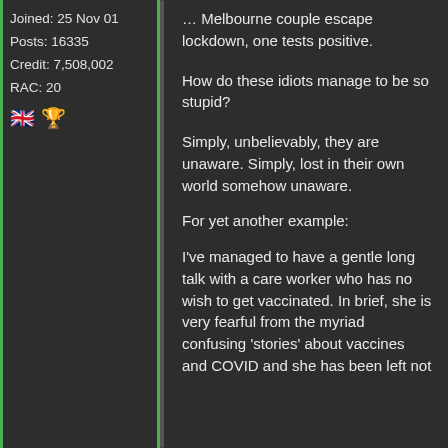Joined: 25 Nov 01
Posts: 16335
Credit: 7,508,002
RAC: 20
[Figure (illustration): UK flag emoji and trophy/person emoji]
… Melbourne couple escape lockdown, one tests positive.
How do these idiots manage to be so stupid?
Simply, unbelievably, they are unaware. Simply, lost in their own world somehow unaware.
For yet another example:
I've managed to have a gentle long talk with a care worker who has no wish to get vaccinated. In brief, she is very fearful from the myriad confusing 'stories' about vaccines and COVID and she has been left not